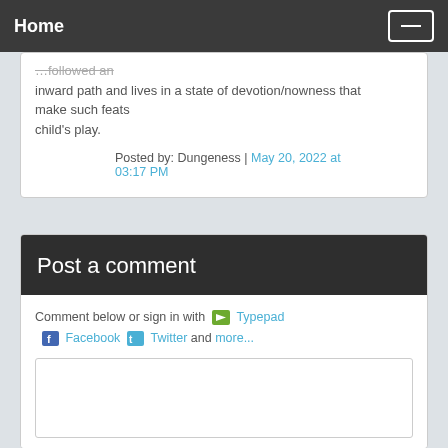Home
...followed an inward path and lives in a state of devotion/nowness that make such feats child's play.
Posted by: Dungeness | May 20, 2022 at 03:17 PM
Post a comment
Comment below or sign in with Typepad Facebook Twitter and more...